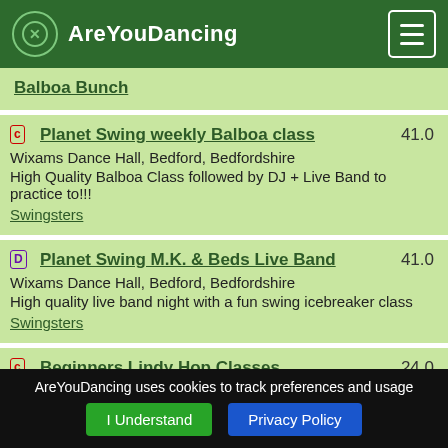AreYouDancing
Balboa Bunch
c Planet Swing weekly Balboa class 41.0
Wixams Dance Hall, Bedford, Bedfordshire
High Quality Balboa Class followed by DJ + Live Band to practice to!!!
Swingsters
D Planet Swing M.K. & Beds Live Band 41.0
Wixams Dance Hall, Bedford, Bedfordshire
High quality live band night with a fun swing icebreaker class
Swingsters
c Beginners Lindy Hop Classes 24.0
Grange Leisure and Community Centre, Swindon, Swindon
Lessons for those who have always wanted to
AreYouDancing uses cookies to track preferences and usage
I Understand  Privacy Policy